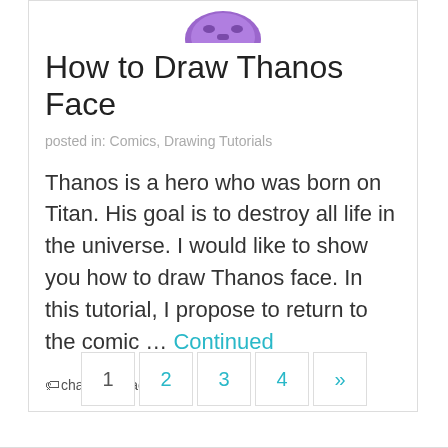[Figure (illustration): Partial view of a cartoon drawing of Thanos face in purple tones at the top of the card]
How to Draw Thanos Face
posted in: Comics, Drawing Tutorials
Thanos is a hero who was born on Titan. His goal is to destroy all life in the universe. I would like to show you how to draw Thanos face. In this tutorial, I propose to return to the comic … Continued
character, face, hero, marvel
1  2  3  4  »